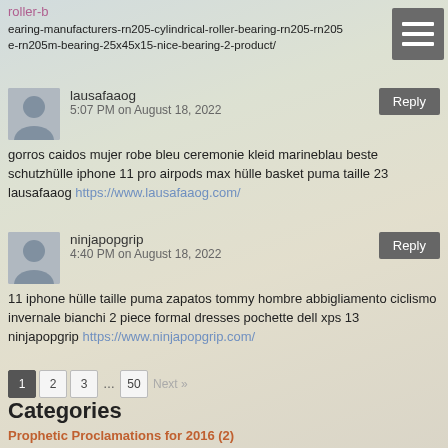roller-b
earing-manufacturers-rn205-cylindrical-roller-bearing-rn205-rn205
e-rn205m-bearing-25x45x15-nice-bearing-2-product/
lausafaaog
5:07 PM on August 18, 2022
gorros caidos mujer robe bleu ceremonie kleid marineblau beste schutzhülle iphone 11 pro airpods max hülle basket puma taille 23
lausafaaog https://www.lausafaaog.com/
ninjapopgrip
4:40 PM on August 18, 2022
11 iphone hülle taille puma zapatos tommy hombre abbigliamento ciclismo invernale bianchi 2 piece formal dresses pochette dell xps 13
ninjapopgrip https://www.ninjapopgrip.com/
1 2 3 … 50 Next »
Categories
Prophetic Proclamations for 2016 (2)